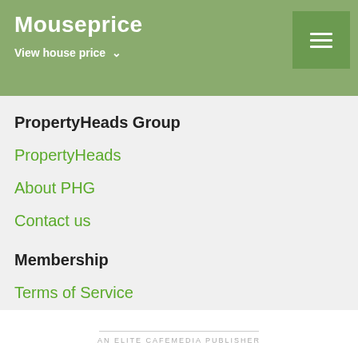Mouseprice
View house price
PropertyHeads Group
PropertyHeads
About PHG
Contact us
Membership
Terms of Service
Privacy Policy
Mouseprice Pro
About Pro
AN ELITE CAFEMEDIA PUBLISHER